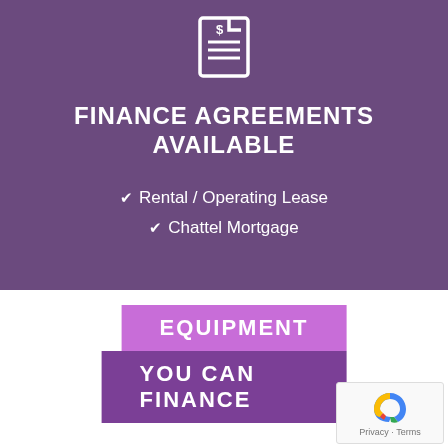[Figure (illustration): White document/invoice icon on purple background]
FINANCE AGREEMENTS AVAILABLE
✔ Rental / Operating Lease
✔ Chattel Mortgage
EQUIPMENT
YOU CAN FINANCE